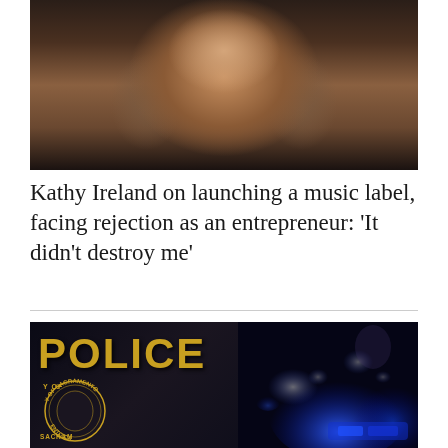[Figure (photo): Portrait photo of Kathy Ireland, a woman with long wavy brown hair wearing a black outfit and pearl necklace, smiling, photographed against a dark background]
Kathy Ireland on launching a music label, facing rejection as an entrepreneur: ‘It didn’t destroy me’
[Figure (photo): Photo showing a Sacramento Police badge/emblem on the left side and blue police emergency lights in the background on the right side at night]